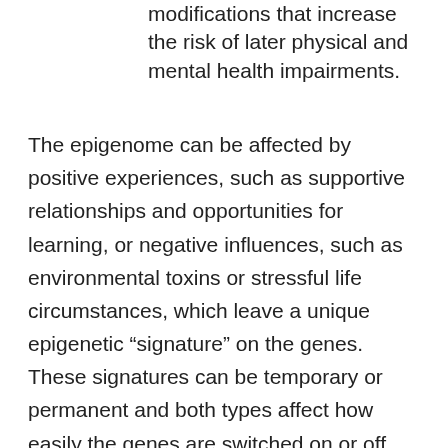modifications that increase the risk of later physical and mental health impairments.
The epigenome can be affected by positive experiences, such as supportive relationships and opportunities for learning, or negative influences, such as environmental toxins or stressful life circumstances, which leave a unique epigenetic “signature” on the genes. These signatures can be temporary or permanent and both types affect how easily the genes are switched on or off. Recent research demonstrates that there may be ways to reverse certain negative changes and restore healthy functioning, but that takes a lot more effort, may not be successful at changing all aspects of